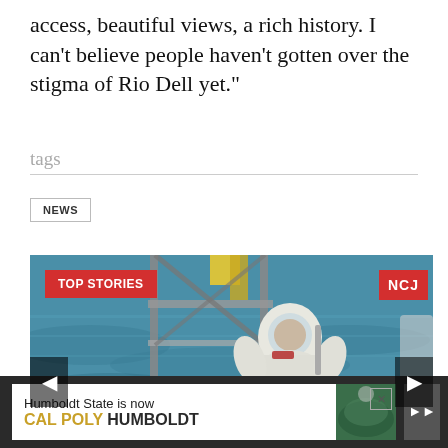access, beautiful views, a rich history. I can't believe people haven't gotten over the stigma of Rio Dell yet."
tags
NEWS
[Figure (photo): An astronaut in a white spacesuit with helmet in what appears to be a water tank or pool, surrounded by a metal frame scaffold structure. The water is blue-green. Overlaid with 'TOP STORIES' badge in red on the left and 'NCJ' badge in red on the right. Left and right navigation arrows visible.]
Humboldt State is now CAL POLY HUMBOLDT